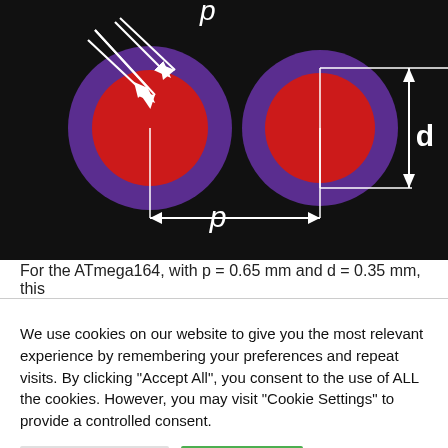[Figure (engineering-diagram): Diagram showing two circular solder pads on a black PCB background. Each pad has a red inner circle (solder ball, diameter d) surrounded by a purple ring. The left pad has two white arrows labeled 'p' pointing to the center from the top-left, indicating pitch direction. A horizontal double-headed arrow at the bottom between the two pads' centers is labeled 'p' showing pitch distance. A vertical double-headed arrow on the right side of the right pad is labeled 'd' showing ball diameter. White lines indicate the measurement extents.]
For the ATmega164, with p = 0.65 mm and d = 0.35 mm, this
We use cookies on our website to give you the most relevant experience by remembering your preferences and repeat visits. By clicking "Accept All", you consent to the use of ALL the cookies. However, you may visit "Cookie Settings" to provide a controlled consent.